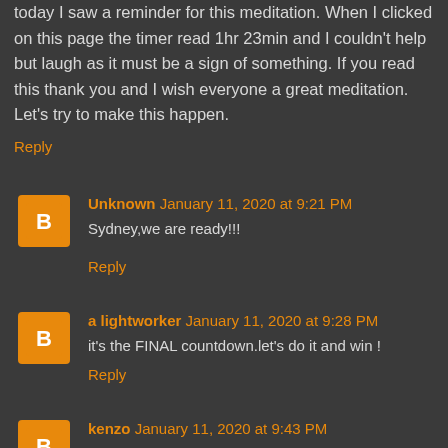today I saw a reminder for this meditation. When I clicked on this page the timer read 1hr 23min and I couldn't help but laugh as it must be a sign of something. If you read this thank you and I wish everyone a great meditation. Let's try to make this happen.
Reply
Unknown January 11, 2020 at 9:21 PM
Sydney,we are ready!!!
Reply
a lightworker January 11, 2020 at 9:28 PM
it's the FINAL countdown.let's do it and win !
Reply
kenzo January 11, 2020 at 9:43 PM